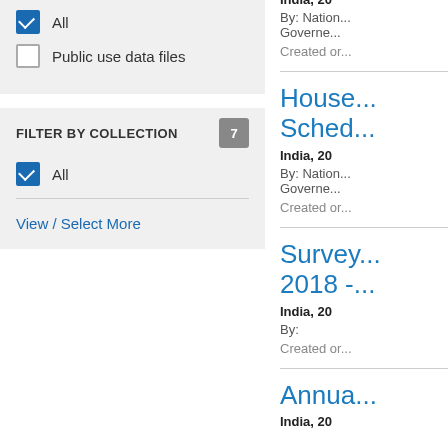All
Public use data files
FILTER BY COLLECTION  7
All
View / Select More
India, 20...
By: Nation... Governe...
Created or...
House... Sched...
India, 20...
By: Nation... Governe...
Created or...
Survey... 2018 -...
India, 20...
By:
Created or...
Annua...
India, 20...